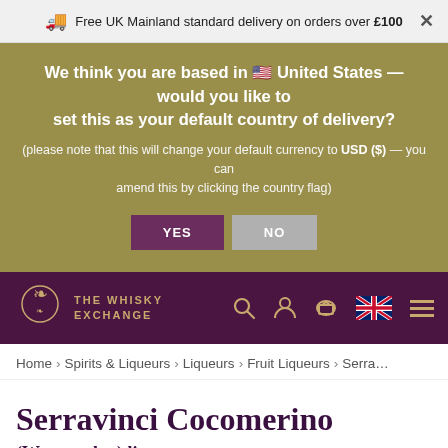Free UK Mainland standard delivery on orders over £100
We think you are based in 🇺🇸 United States — would you like to set this as your default country of delivery? (please note that this will change your default currency to USD ($) — you can amend this by clicking the country flag)
YES  NO
[Figure (logo): The Whisky Exchange logo — gold emblem and text on dark purple nav bar]
Home > Spirits & Liqueurs > Liqueurs > Fruit Liqueurs > Serra...
Serravinci Cocomerino
(Watermelon) liqueur
50cl / 17%
♡ Add to Wishlist